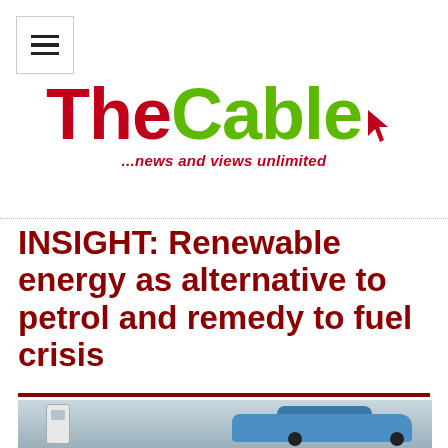TheCable ...news and views unlimited
INSIGHT: Renewable energy as alternative to petrol and remedy to fuel crisis
[Figure (photo): Electric vehicle plugged into a charging station, blue car visible on the right side of the image]